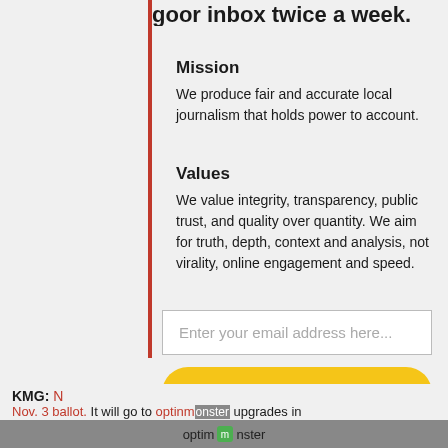your inbox twice a week.
Mission
We produce fair and accurate local journalism that holds power to account.
Values
We value integrity, transparency, public trust, and quality over quantity. We aim for truth, depth, context and analysis, not virality, online engagement and speed.
Enter your email address here...
Subscribe
No thanks
KMG: N
Nov. 3 ballot. It will go to optinmonster upgrades in